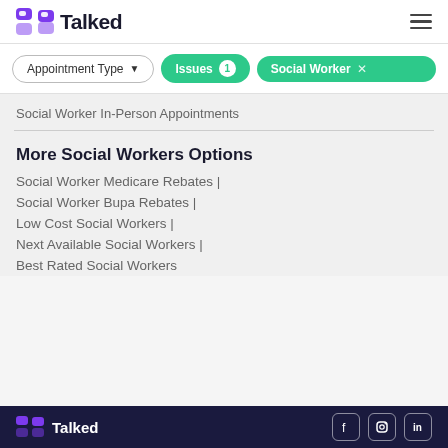Talked
Appointment Type | Issues 1 | Social Worker ×
Social Worker In-Person Appointments
More Social Workers Options
Social Worker Medicare Rebates |
Social Worker Bupa Rebates |
Low Cost Social Workers |
Next Available Social Workers |
Best Rated Social Workers
Talked — social media icons: Facebook, Instagram, LinkedIn